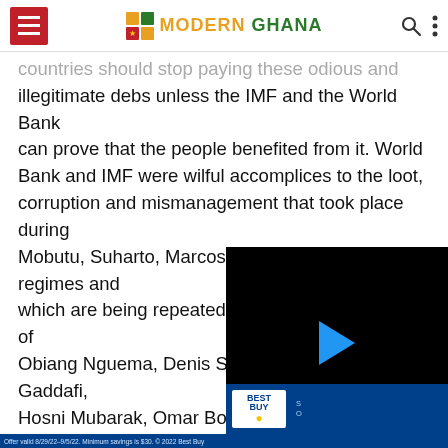Modern Ghana
countries should stop paying these odious and illegitimate debs unless the IMF and the World Bank can prove that the people benefited from it. World Bank and IMF were wilful accomplices to the loot, corruption and mismanagement that took place during Mobutu, Suharto, Marcos, Lansana Conte regimes and which are being repeated by the corrupt regimes of Obiang Nguema, Denis Sassou Nguesso, Gaddafi, Hosni Mubarak, Omar Bongo, Obiang Nguema and Blaise Campore. proper accounta would be unlawf generations to p When sale of
[Figure (screenshot): Embedded video player overlay (black background with blue play button triangle), partly covering the article text. Below it is a Best Buy advertisement banner.]